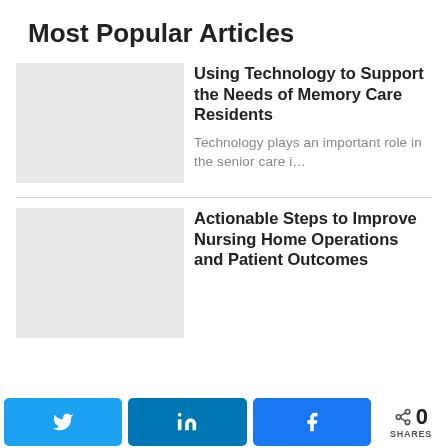Most Popular Articles
[Figure (photo): Placeholder image for article 1]
Using Technology to Support the Needs of Memory Care Residents
Technology plays an important role in the senior care i…
[Figure (photo): Placeholder image for article 2]
Actionable Steps to Improve Nursing Home Operations and Patient Outcomes
Twitter share button | LinkedIn share button | Facebook share button | < 0 SHARES